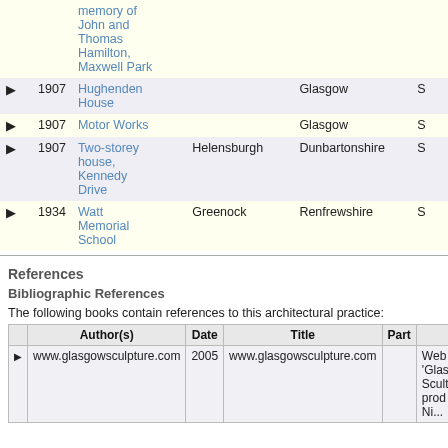|  | Year | Name | Town | Region | S |
| --- | --- | --- | --- | --- | --- |
| ▶ |  | memory of John and Thomas Hamilton, Maxwell Park |  |  |  |
| ▶ | 1907 | Hughenden House |  | Glasgow | S |
| ▶ | 1907 | Motor Works |  | Glasgow | S |
| ▶ | 1907 | Two-storey house, Kennedy Drive | Helensburgh | Dunbartonshire | S |
| ▶ | 1934 | Watt Memorial School | Greenock | Renfrewshire | S |
References
Bibliographic References
The following books contain references to this architectural practice:
|  | Author(s) | Date | Title | Part |  |
| --- | --- | --- | --- | --- | --- |
| ▶ | www.glasgowsculpture.com | 2005 | www.glasgowsculpture.com |  | Web 'Glas Scult prod Ni... |